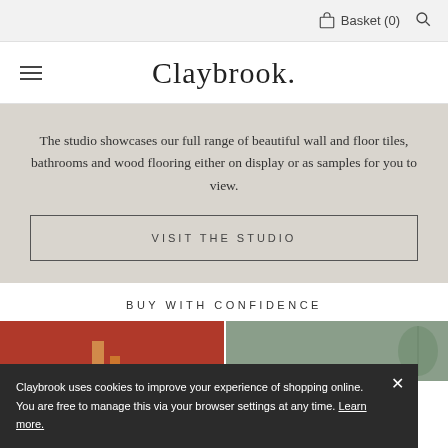Basket (0)
Claybrook.
The studio showcases our full range of beautiful wall and floor tiles, bathrooms and wood flooring either on display or as samples for you to view.
VISIT THE STUDIO
BUY WITH CONFIDENCE
Claybrook uses cookies to improve your experience of shopping online. You are free to manage this via your browser settings at any time. Learn more.